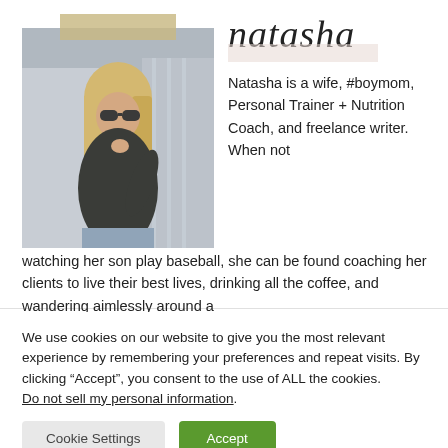[Figure (photo): Photo of a blonde woman wearing sunglasses and a dark wrap top, with a decorative tan tape strip at the top of the image]
natasha
Natasha is a wife, #boymom, Personal Trainer + Nutrition Coach, and freelance writer. When not watching her son play baseball, she can be found coaching her clients to live their best lives, drinking all the coffee, and wandering aimlessly around a
We use cookies on our website to give you the most relevant experience by remembering your preferences and repeat visits. By clicking “Accept”, you consent to the use of ALL the cookies. Do not sell my personal information.